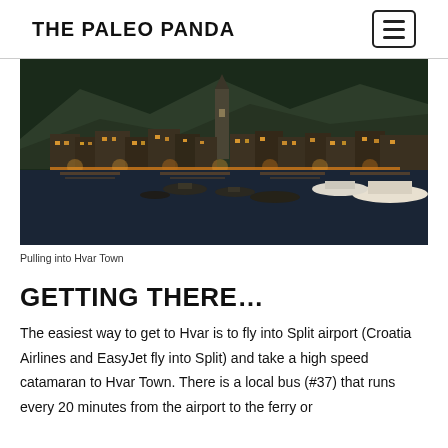THE PALEO PANDA
[Figure (photo): Nighttime photo of Hvar Town waterfront with boats in the harbour, illuminated buildings along the shore, and a church tower silhouetted against a dark hillside.]
Pulling into Hvar Town
GETTING THERE…
The easiest way to get to Hvar is to fly into Split airport (Croatia Airlines and EasyJet fly into Split) and take a high speed catamaran to Hvar Town.  There is a local bus (#37) that runs every 20 minutes from the airport to the ferry or